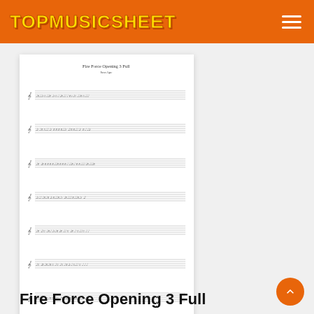TOPMUSICSHEET
[Figure (illustration): Music sheet page showing 'Fire Force Opening 3 Full' by SawApe, with multiple lines of musical notation for a single-line instrument]
Fire Force Opening 3 Full